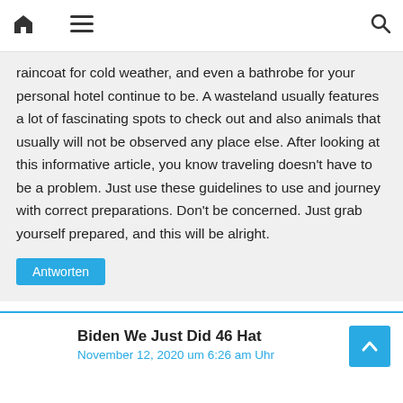Navigation bar with home, menu, and search icons
raincoat for cold weather, and even a bathrobe for your personal hotel continue to be. A wasteland usually features a lot of fascinating spots to check out and also animals that usually will not be observed any place else. After looking at this informative article, you know traveling doesn't have to be a problem. Just use these guidelines to use and journey with correct preparations. Don't be concerned. Just grab yourself prepared, and this will be alright.
Antworten
Biden We Just Did 46 Hat
November 12, 2020 um 6:26 am Uhr